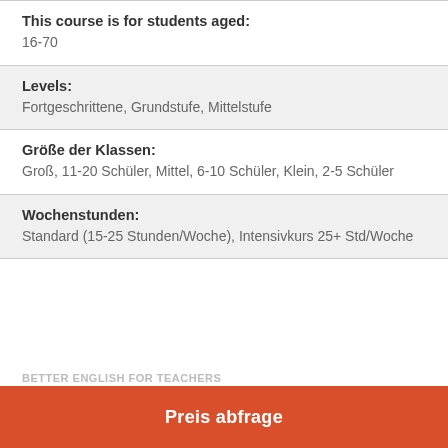This course is for students aged:
16-70
Levels:
Fortgeschrittene, Grundstufe, Mittelstufe
Größe der Klassen:
Groß, 11-20 Schüler, Mittel, 6-10 Schüler, Klein, 2-5 Schüler
Wochenstunden:
Standard (15-25 Stunden/Woche), Intensivkurs 25+ Std/Woche
BETTER ENGLISH FOR TEACHERS
Preis abfrage